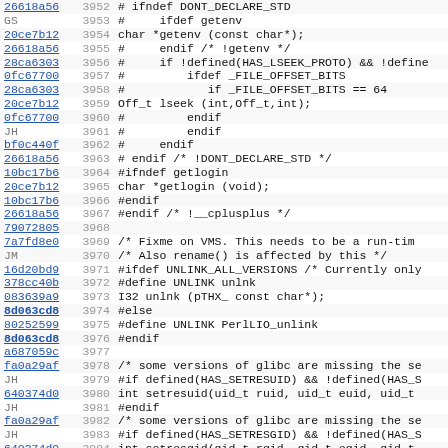[Figure (screenshot): Source code viewer showing lines 3952-3984 of a C/Perl source file with commit hashes, line numbers, and code content.]